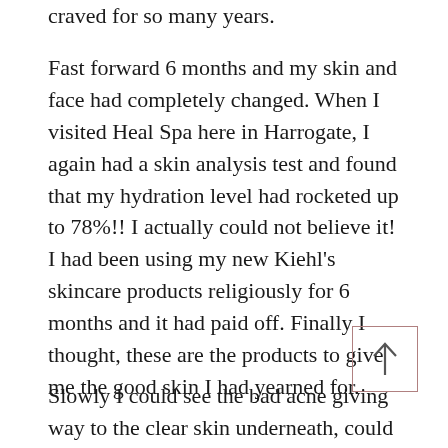craved for so many years.
Fast forward 6 months and my skin and face had completely changed. When I visited Heal Spa here in Harrogate, I again had a skin analysis test and found that my hydration level had rocketed up to 78%!! I actually could not believe it! I had been using my new Kiehl's skincare products religiously for 6 months and it had paid off. Finally I thought, these are the products to give me the good skin I had yearned for.
Slowly I could see the bad acne giving way to the clear skin underneath, could this be true?